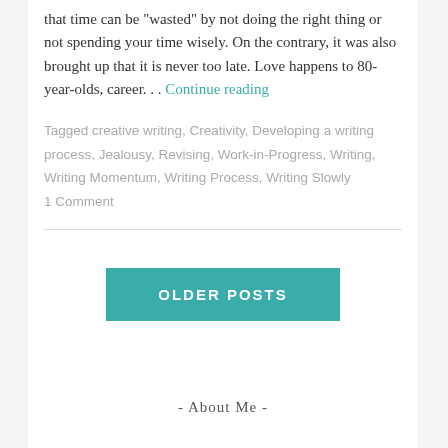that time can be "wasted" by not doing the right thing or not spending your time wisely. On the contrary, it was also brought up that it is never too late. Love happens to 80-year-olds, career... Continue reading
Tagged creative writing, Creativity, Developing a writing process, Jealousy, Revising, Work-in-Progress, Writing, Writing Momentum, Writing Process, Writing Slowly
1 Comment
[Figure (other): Teal/turquoise button labeled OLDER POSTS]
- About Me -